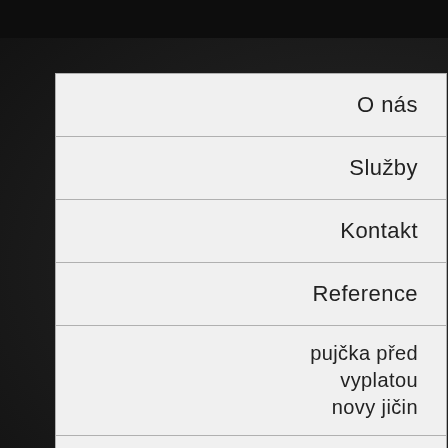Maecenas aliquet accumsa
Lorem ipsum dolor sit amet, consectetuer a aptent taciti sociosqu ad litora torquent pe inceptos hymenaeos. Etiam dictum tincidun dolor. Suspendisse sagittis ultrices augue. M fermentum, sem in pharetra pellentesque, ante, in pharetra metus odio a lectus. Maec
O nás
Služby
Kontakt
Reference
pujčka před vyplatou novy jičin
online pujcka pred výplatou smržovka